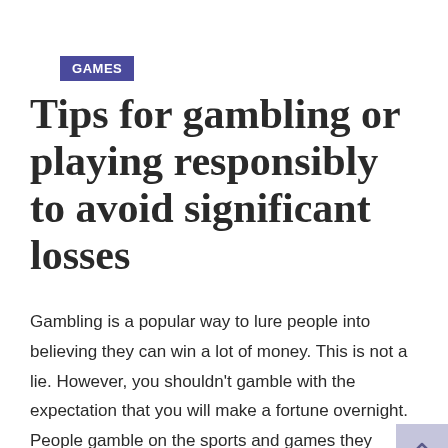GAMES
Tips for gambling or playing responsibly to avoid significant losses
Gambling is a popular way to lure people into believing they can win a lot of money. This is not a lie. However, you shouldn't gamble with the expectation that you will make a fortune overnight. People gamble on the sports and games they enjoy, but not on the ones they